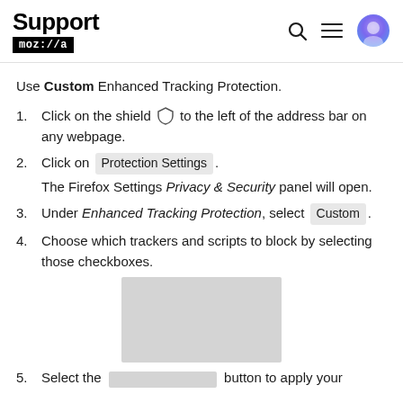Support mozilla.org
Use Custom Enhanced Tracking Protection.
1. Click on the shield to the left of the address bar on any webpage.
2. Click on Protection Settings. The Firefox Settings Privacy & Security panel will open.
3. Under Enhanced Tracking Protection, select Custom.
4. Choose which trackers and scripts to block by selecting those checkboxes.
[Figure (screenshot): Screenshot placeholder image showing Firefox settings]
5. Select the [button] button to apply your